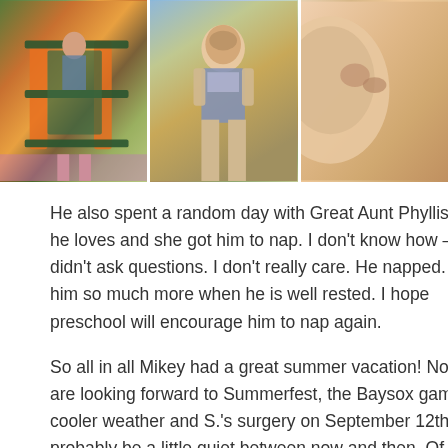[Figure (photo): Three photos side by side: left shows a child on a playground with orange and teal equipment; center shows a smiling boy in an American flag shirt outdoors; right shows a close-up profile of a person's face.]
He also spent a random day with Great Aunt Phyllis who he loves and she got him to nap. I don't know how – I didn't ask questions. I don't really care. He napped. I like him so much more when he is well rested. I hope preschool will encourage him to nap again.
So all in all Mikey had a great summer vacation! Now we are looking forward to Summerfest, the Baysox game, cooler weather and S.'s surgery on September 12th. I'll probably be a little quiet between now and then. Of course I say that and who knows, I might end up being a daily poster as we go through all these changes.
How did you spend YOUR summer vacation?